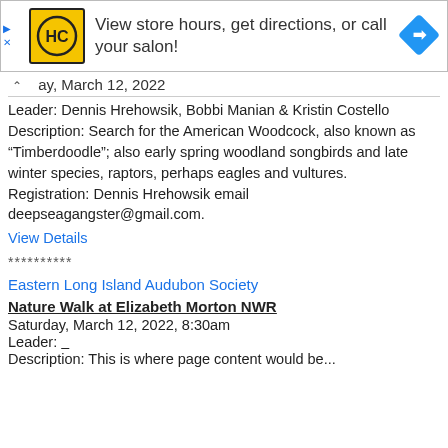[Figure (infographic): Advertisement banner with HC logo (yellow square with black HC letters), text 'View store hours, get directions, or call your salon!', and a blue navigation diamond arrow icon on the right. Play and close controls on the left.]
ay, March 12, 2022
Leader: Dennis Hrehowsik, Bobbi Manian & Kristin Costello Description: Search for the American Woodcock, also known as “Timberdoodle”; also early spring woodland songbirds and late winter species, raptors, perhaps eagles and vultures. Registration: Dennis Hrehowsik email deepseagangster@gmail.com.
View Details
**********
Eastern Long Island Audubon Society
Nature Walk at Elizabeth Morton NWR
Saturday, March 12, 2022, 8:30am
Leader: __
Description: This is where page content would be...